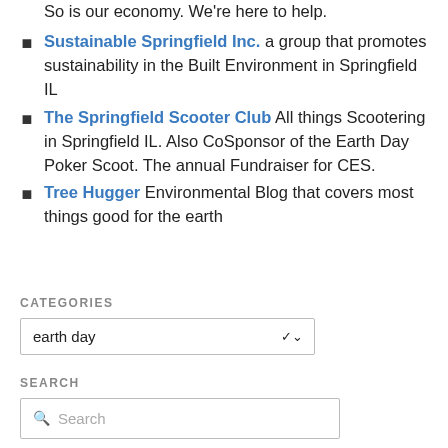So is our economy. We're here to help.
Sustainable Springfield Inc. a group that promotes sustainability in the Built Environment in Springfield IL
The Springfield Scooter Club All things Scootering in Springfield IL. Also CoSponsor of the Earth Day Poker Scoot. The annual Fundraiser for CES.
Tree Hugger Environmental Blog that covers most things good for the earth
CATEGORIES
earth day
SEARCH
Search